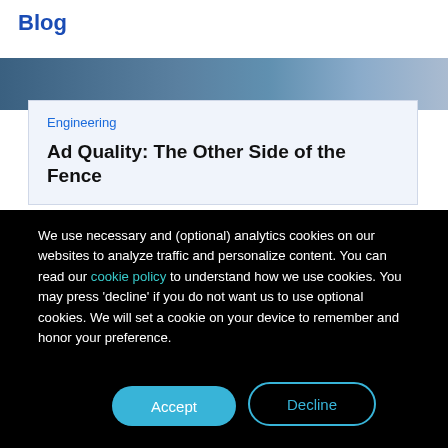Blog
[Figure (photo): Partial image strip showing a dark/blue-toned photo at the top of a blog card]
Engineering
Ad Quality: The Other Side of the Fence
We use necessary and (optional) analytics cookies on our websites to analyze traffic and personalize content. You can read our cookie policy to understand how we use cookies. You may press 'decline' if you do not want us to use optional cookies. We will set a cookie on your device to remember and honor your preference.